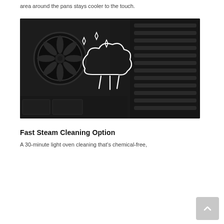area around the pans stays cooler to the touch.
[Figure (photo): Close-up interior photo of a dark oven cavity showing convection fan on the left wall, oven rack slots on the right, and a white icon overlay of a steam cloud with sparkles in the center.]
Fast Steam Cleaning Option
A 30-minute light oven cleaning that's chemical-free,